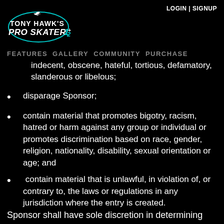LOGIN | SIGNUP
[Figure (logo): Tony Hawk's Pro Skater 1+2 logo with teal oval and bird graphic]
FEATURES   GALLERY   COMMUNITY   PURCHASE
indecent, obscene, hateful, tortious, defamatory, slanderous or libelous;
disparage Sponsor;
contain material that promotes bigotry, racism, hatred or harm against any group or individual or promotes discrimination based on race, gender, religion, nationality, disability, sexual orientation or age; and
contain material that is unlawful, in violation of, or contrary to, the laws or regulations in any jurisdiction where the entry is created.
Sponsor shall have sole discretion in determining